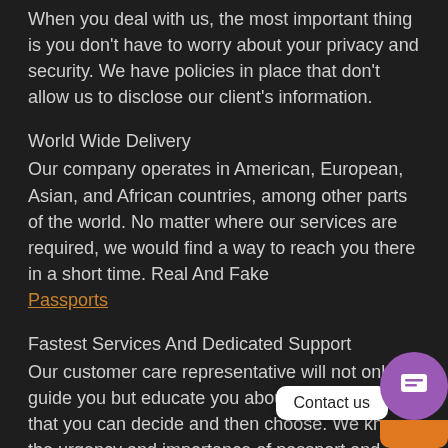When you deal with us, the most important thing is you don't have to worry about your privacy and security. We have policies in place that don't allow us to disclose our client's information.
World Wide Delivery
Our company operates in American, European, Asian, and African countries, among other parts of the world. No matter where our services are required, we would find a way to reach you there in a short time. Real And Fake Passports
Fastest Services And Dedicated Support
Our customer care representative will not only guide you but educate you about the services so that you can decide and then choose. We know the urgency and importance of passport and other documents, that's why our team is working 24*7 to ensure your satisfaction. Fake Passport